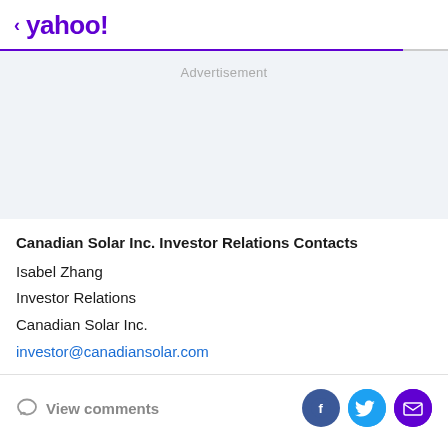< yahoo!
[Figure (other): Advertisement placeholder banner with light blue-gray background]
Canadian Solar Inc. Investor Relations Contacts
Isabel Zhang
Investor Relations
Canadian Solar Inc.
investor@canadiansolar.com
View comments